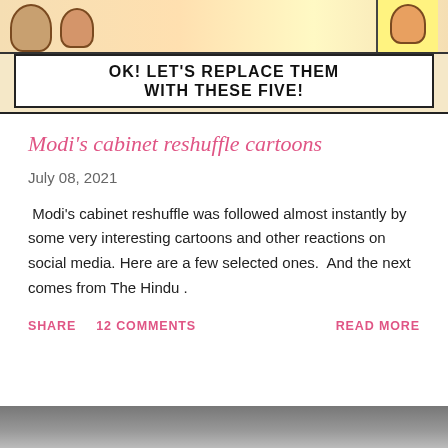[Figure (illustration): Top portion of a comic cartoon strip showing cartoon figures, with a speech bubble at the bottom reading: OK! LET'S REPLACE THEM WITH THESE FIVE!]
Modi's cabinet reshuffle cartoons
July 08, 2021
Modi's cabinet reshuffle was followed almost instantly by some very interesting cartoons and other reactions on social media. Here are a few selected ones. And the next comes from The Hindu .
SHARE   12 COMMENTS   READ MORE
[Figure (photo): Bottom partial image, appears to be a photograph, cropped at page edge]